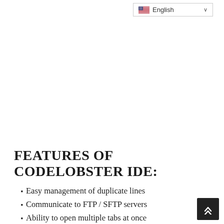[Figure (screenshot): Language selector dropdown showing US flag and 'English' text with a chevron/arrow on the right, bordered box in top right corner]
FEATURES OF CODELOBSTER IDE:
Easy management of duplicate lines
Communicate to FTP / SFTP servers
Ability to open multiple tabs at once